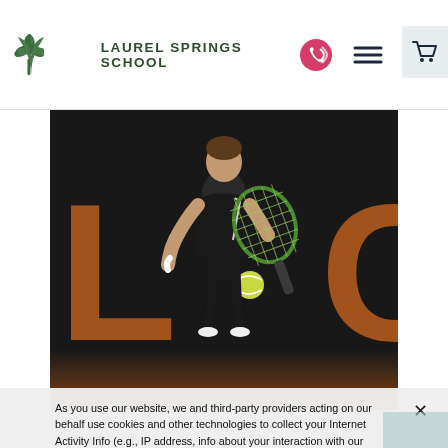LAUREL SPRINGS SCHOOL
[Figure (photo): Tennis player in black Adidas shirt holding a racket against a dark background with large orange letters]
As you use our website, we and third-party providers acting on our behalf use cookies and other technologies to collect your Internet Activity Info (e.g., IP address, info about your interaction with our website, and device info). We use and disclose this info to monitor and improve site performance, analyze traffic, and provide targeted online advertisements. Under CA law, certain sharing may be considered a sale, so you may opt-out of these cookies here. For more information, please review the Privacy and Cookie Notice and Privacy Notice for California Residents.
The first time Fort Wayne, IN, native and Laurel Springs School student Andrew Meier picked up a tennis racket